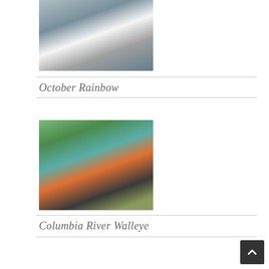[Figure (photo): Man on a boat holding a rainbow trout, water and mountains visible in background]
October Rainbow
[Figure (photo): Older man wearing a white cap and red life vest holding a large walleye fish, with a lake and forested hills in the background]
Columbia River Walleye